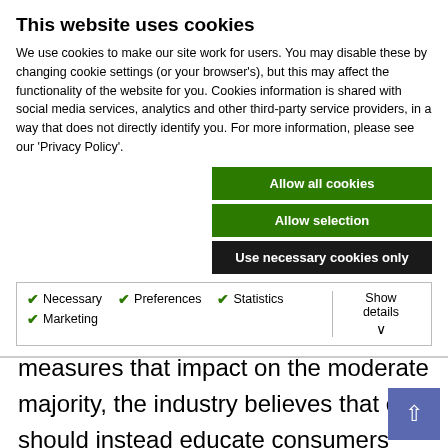This website uses cookies
We use cookies to make our site work for users. You may disable these by changing cookie settings (or your browser's), but this may affect the functionality of the website for you. Cookies information is shared with social media services, analytics and other third-party service providers, in a way that does not directly identify you. For more information, please see our 'Privacy Policy'.
Allow all cookies
Allow selection
Use necessary cookies only
Necessary  Preferences  Statistics  Marketing  Show details
measures that impact on the moderate majority, the industry believes that one should instead educate consumers into drinking responsibly. It is only through education, coupled with targeted interventions against misusers, that we shall